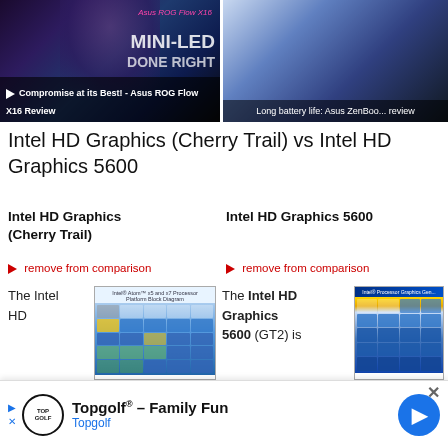[Figure (screenshot): Two video thumbnails side by side. Left: Asus ROG Flow X16 Review with man holding laptop, text 'Compromise at its Best! - Asus ROG Flow X16 Review'. Right: Asus ZenBook review with laptop on colorful background, text 'Long battery life: Asus ZenBoo... review']
Intel HD Graphics (Cherry Trail) vs Intel HD Graphics 5600
Intel HD Graphics (Cherry Trail)
Intel HD Graphics 5600
► remove from comparison
► remove from comparison
[Figure (screenshot): Intel Atom x5 and x7 Processor Platform Block Diagram thumbnail image]
[Figure (screenshot): Intel Processor Graphics Gen... architecture diagram thumbnail]
The Intel HD
The Intel HD Graphics 5600 (GT2) is
[Figure (infographic): Advertisement banner: Topgolf - Family Fun, Topgolf with play button icon and navigation arrow]